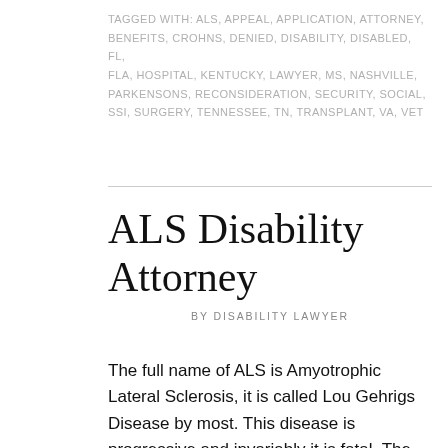TAGGED WITH: ALS, APPEAL, APPLICATION, ATTORNEY, BENEFITS, CROHNS, DENIED, DISABILITY, DISABLED, FL, FLA, HOSPITAL, KENTUCKY, LAWYER, MS, NASHVILLE, PARKENSONS, RECONSIDERATION, SECURITY, SOCIAL, SSI, SURGERY, TENNESSEE, TN, TRANSPLANT, VA, VET
ALS Disability Attorney
BY DISABILITY LAWYER
The full name of ALS is Amyotrophic Lateral Sclerosis, it is called Lou Gehrigs Disease by most. This disease is progressive and invariably it is fatal. The disease attacks the nerve cells that control voluntary muscle movement. The result in